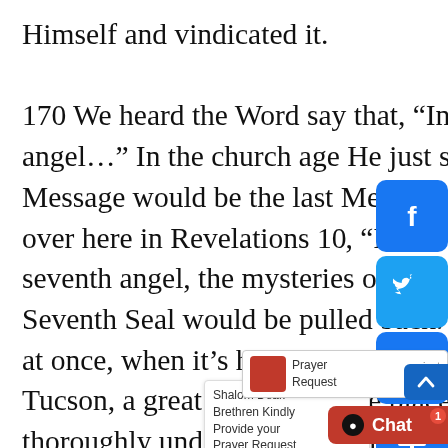Himself and vindicated it.

170 We heard the Word say that, “In the days of the seventh angel…” In the church age He just said the seventh angel’s Message would be the last Message. And then, oh, we find out over here in Revelations 10, “In the days of the Message of the seventh angel, the mysteries of God should be finished,” the Seventh Seal would be pulled back. It should be there. Then all at once, when it’s happening, a vision broke, said, “Go to Tucson, a great noise will take place at this time so you’ll be thoroughly understanding and know that it’s sent. It’ll shake the earth nearly.” All of you know about on tape months before it happened. And it happened, There appeared in the skies, “Shalom” What is it? It’s a-changing beats, the sympathy.